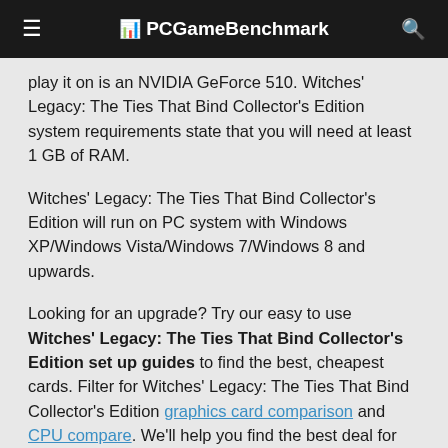PCGameBenchmark
play it on is an NVIDIA GeForce 510. Witches' Legacy: The Ties That Bind Collector's Edition system requirements state that you will need at least 1 GB of RAM.
Witches' Legacy: The Ties That Bind Collector's Edition will run on PC system with Windows XP/Windows Vista/Windows 7/Windows 8 and upwards.
Looking for an upgrade? Try our easy to use Witches' Legacy: The Ties That Bind Collector's Edition set up guides to find the best, cheapest cards. Filter for Witches' Legacy: The Ties That Bind Collector's Edition graphics card comparison and CPU compare. We'll help you find the best deal for the right gear to run the game.